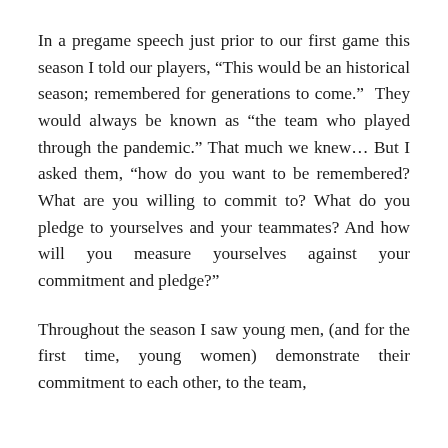In a pregame speech just prior to our first game this season I told our players, “This would be an historical season; remembered for generations to come.”  They would always be known as “the team who played through the pandemic.” That much we knew… But I asked them, “how do you want to be remembered? What are you willing to commit to? What do you pledge to yourselves and your teammates? And how will you measure yourselves against your commitment and pledge?”
Throughout the season I saw young men, (and for the first time, young women) demonstrate their commitment to each other, to the team,